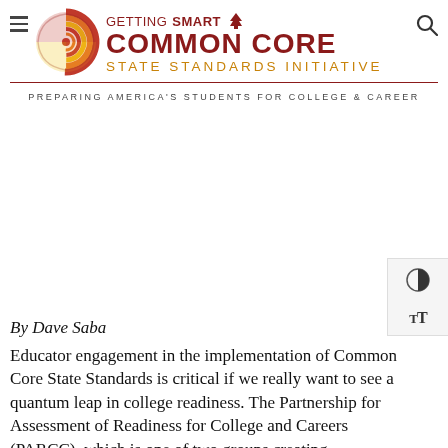[Figure (logo): Getting Smart Common Core State Standards Initiative logo with spiral graphic, tree icon, and tagline 'Preparing America's Students for College & Career']
By Dave Saba
Educator engagement in the implementation of Common Core State Standards is critical if we really want to see a quantum leap in college readiness. The Partnership for Assessment of Readiness for College and Careers (PARCC), which is one of two groups creating assessments